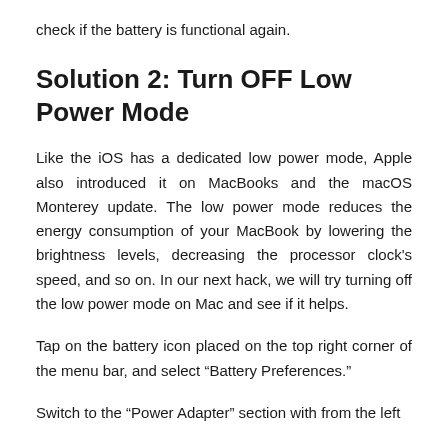check if the battery is functional again.
Solution 2: Turn OFF Low Power Mode
Like the iOS has a dedicated low power mode, Apple also introduced it on MacBooks and the macOS Monterey update. The low power mode reduces the energy consumption of your MacBook by lowering the brightness levels, decreasing the processor clock's speed, and so on. In our next hack, we will try turning off the low power mode on Mac and see if it helps.
Tap on the battery icon placed on the top right corner of the menu bar, and select “Battery Preferences.”
Switch to the “Power Adapter” section with from the left